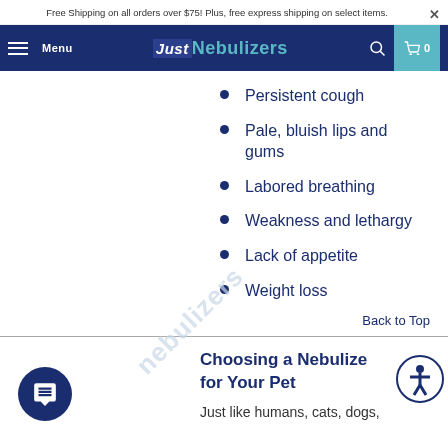Free Shipping on all orders over $75! Plus, free express shipping on select items.
Menu | JustNebulizers | 0
Persistent cough
Pale, bluish lips and gums
Labored breathing
Weakness and lethargy
Lack of appetite
Weight loss
Back to Top
Choosing a Nebulizer for Your Pet
Just like humans, cats, dogs,